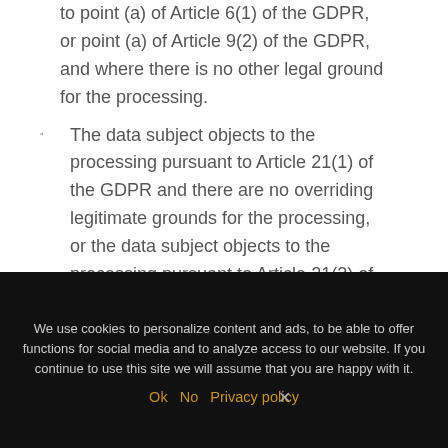to point (a) of Article 6(1) of the GDPR, or point (a) of Article 9(2) of the GDPR, and where there is no other legal ground for the processing.
The data subject objects to the processing pursuant to Article 21(1) of the GDPR and there are no overriding legitimate grounds for the processing, or the data subject objects to the processing pursuant to Article 21(2) of
We use cookies to personalize content and ads, to be able to offer functions for social media and to analyze access to our website. If you continue to use this site we will assume that you are happy with it.
Ok  No  Privacy policy